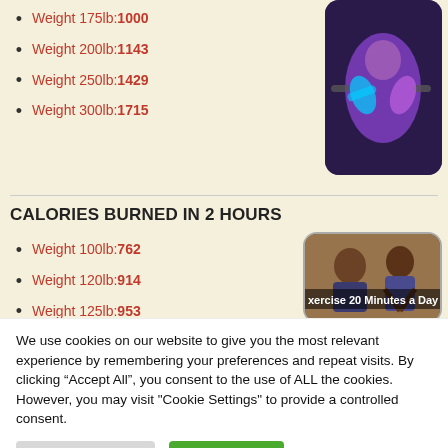Weight 175lb:1000
Weight 200lb:1143
Weight 250lb:1429
Weight 300lb:1715
[Figure (illustration): Cartoon-style purple figure lifting weights with blue glow effect on dark background]
CALORIES BURNED IN 2 HOURS
Weight 100lb:762
Weight 120lb:914
Weight 125lb:953
Weight 150lb:1143
Weight 175lb:1334
Weight 200lb:1524
[Figure (photo): Photo of woman exercising with text overlay reading 'xercise 20 Minutes a Day']
We use cookies on our website to give you the most relevant experience by remembering your preferences and repeat visits. By clicking “Accept All”, you consent to the use of ALL the cookies. However, you may visit "Cookie Settings" to provide a controlled consent.
Cookie Settings | Accept All